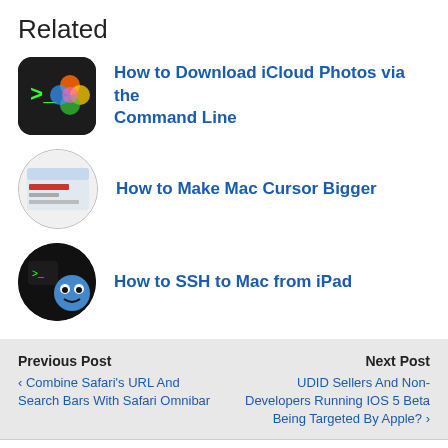Related
How to Download iCloud Photos via the Command Line
How to Make Mac Cursor Bigger
How to SSH to Mac from iPad
Previous Post
‹ Combine Safari's URL And Search Bars With Safari Omnibar
Next Post
UDID Sellers And Non-Developers Running IOS 5 Beta Being Targeted By Apple? ›
15 responses